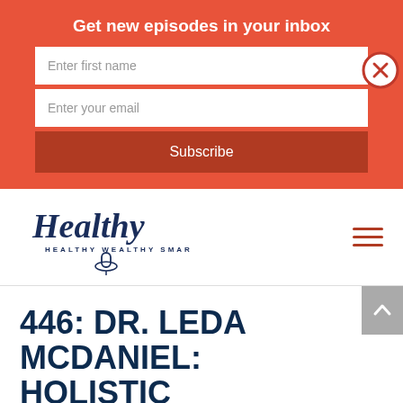Get new episodes in your inbox
Enter first name
Enter your email
Subscribe
[Figure (logo): Healthy Wealthy Smart podcast logo with script and sans-serif text, dark blue microphone illustration]
446: DR. LEDA MCDANIEL: HOLISTIC APPROACH TO CRPS